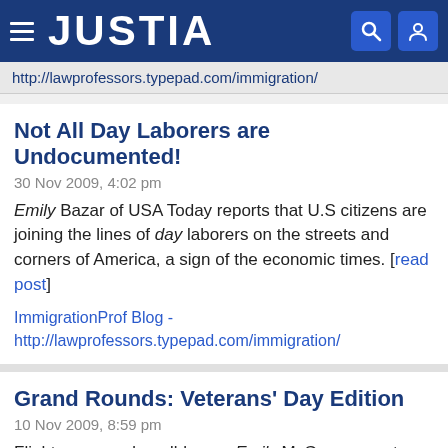JUSTIA
http://lawprofessors.typepad.com/immigration/
Not All Day Laborers are Undocumented!
30 Nov 2009, 4:02 pm
Emily Bazar of USA Today reports that U.S citizens are joining the lines of day laborers on the streets and corners of America, a sign of the economic times. [read post]
ImmigrationProf Blog - http://lawprofessors.typepad.com/immigration/
Grand Rounds: Veterans' Day Edition
10 Nov 2009, 8:59 pm
Flight nurse and medblogger Emily McGee presents a Veterans' Day-themed round-up of great posts. [read